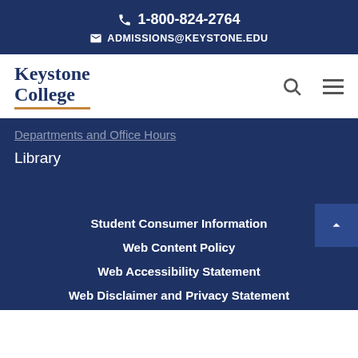1-800-824-2764 ADMISSIONS@KEYSTONE.EDU
[Figure (logo): Keystone College logo with text 'Keystone College' in navy serif font, underlined with an orange rule]
Departments and Office Hours
Library
Student Consumer Information
Web Content Policy
Web Accessibility Statement
Web Disclaimer and Privacy Statement